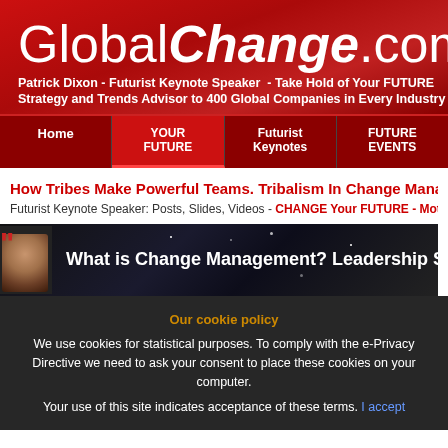GlobalChange.com
Patrick Dixon - Futurist Keynote Speaker - Take Hold of Your FUTURE
Strategy and Trends Advisor to 400 Global Companies in Every Industry
Home | YOUR FUTURE | Futurist Keynotes | FUTURE EVENTS
How Tribes Make Powerful Teams. Tribalism In Change Management
Futurist Keynote Speaker: Posts, Slides, Videos - CHANGE Your FUTURE - Moti...
[Figure (screenshot): Video thumbnail with speaker photo and text: What is Change Management? Leadership Style...]
Our cookie policy
We use cookies for statistical purposes. To comply with the e-Privacy Directive we need to ask your consent to place these cookies on your computer.
Your use of this site indicates acceptance of these terms. I accept